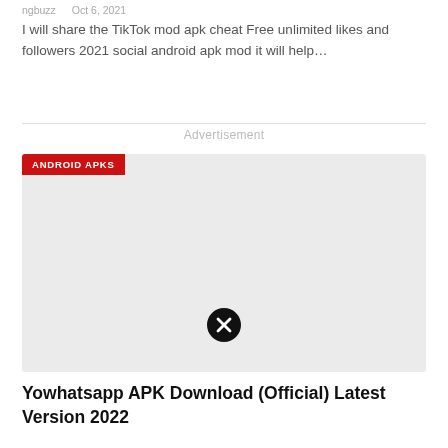ngbuzz   Oct 6, 2021
I will share the TikTok mod apk cheat Free unlimited likes and followers 2021 social android apk mod it will help…
Advertisement
[Figure (other): Gray placeholder advertisement card with 'ANDROID APKS' red badge in top-left corner and a close/dismiss button (circle with X) in the center-bottom area]
Yowhatsapp APK Download (Official) Latest Version 2022